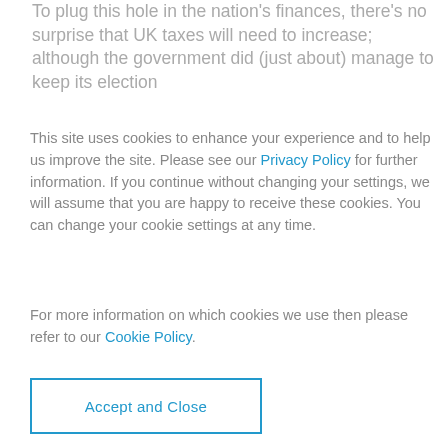To plug this hole in the nation's finances, there's no surprise that UK taxes will need to increase; although the government did (just about) manage to keep its election
This site uses cookies to enhance your experience and to help us improve the site. Please see our Privacy Policy for further information. If you continue without changing your settings, we will assume that you are happy to receive these cookies. You can change your cookie settings at any time.
For more information on which cookies we use then please refer to our Cookie Policy.
Accept and Close